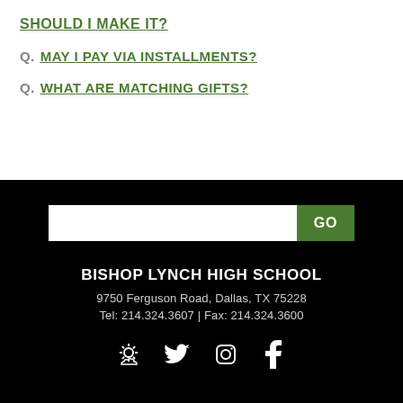SHOULD I MAKE IT?
Q. MAY I PAY VIA INSTALLMENTS?
Q. WHAT ARE MATCHING GIFTS?
[Figure (screenshot): Search bar with white input field and green GO button]
BISHOP LYNCH HIGH SCHOOL
9750 Ferguson Road, Dallas, TX 75228
Tel: 214.324.3607 | Fax: 214.324.3600
[Figure (infographic): Social media icons: weather/sun icon, Twitter bird, Instagram camera, Facebook f]